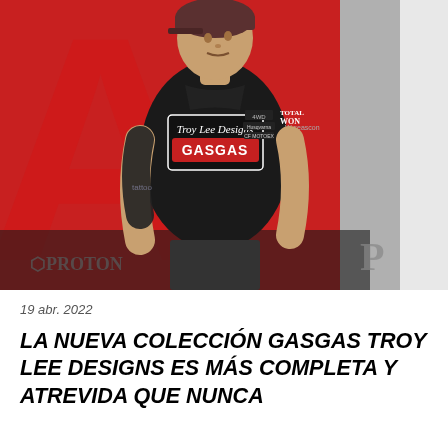[Figure (photo): A man wearing a black Troy Lee Designs GASGAS t-shirt, standing in front of a large red truck/vehicle backdrop. The man has tattoos on his arms, wearing a dark cap, looking to the side.]
19 abr. 2022
LA NUEVA COLECCIÓN GASGAS TROY LEE DESIGNS ES MÁS COMPLETA Y ATREVIDA QUE NUNCA